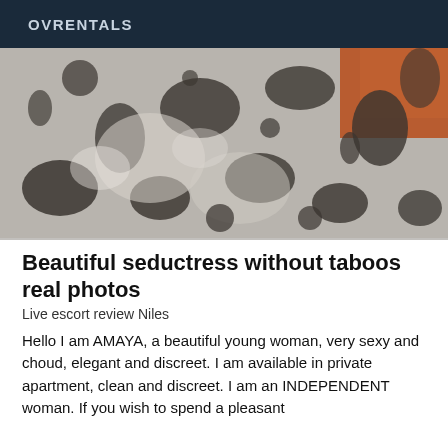OVRENTALS
[Figure (photo): Close-up photo of decorative fabric/bedding with dark grey and white floral/damask pattern, with an orange textured surface visible in the upper right corner.]
Beautiful seductress without taboos real photos
Live escort review Niles
Hello I am AMAYA, a beautiful young woman, very sexy and choud, elegant and discreet. I am available in private apartment, clean and discreet. I am an INDEPENDENT woman. If you wish to spend a pleasant